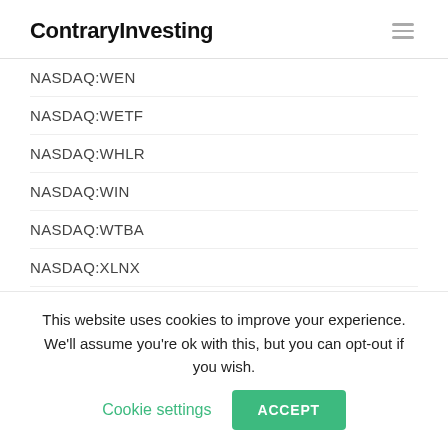ContraryInvesting
NASDAQ:WEN
NASDAQ:WETF
NASDAQ:WHLR
NASDAQ:WIN
NASDAQ:WTBA
NASDAQ:XLNX
NASDAQ:ZION
NASDAQ:ZM
NASDDAQ:AMZN
This website uses cookies to improve your experience. We'll assume you're ok with this, but you can opt-out if you wish. Cookie settings ACCEPT